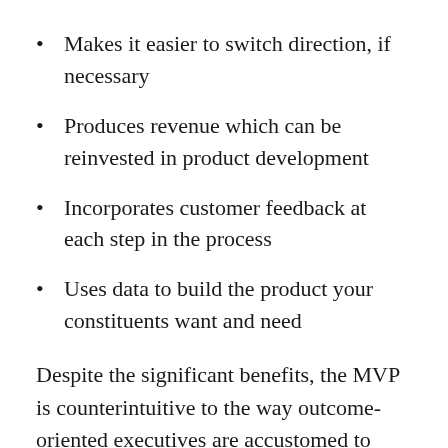Makes it easier to switch direction, if necessary
Produces revenue which can be reinvested in product development
Incorporates customer feedback at each step in the process
Uses data to build the product your constituents want and need
Despite the significant benefits, the MVP is counterintuitive to the way outcome-oriented executives are accustomed to working and may require jumping some mental hurdles. Charlie